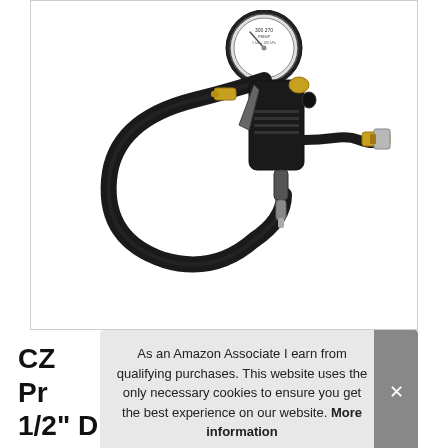[Figure (photo): A tire inflator / dial wheel inflator gauge with a black rubber hose, black metal body gun grip, brass fittings, and a round pressure gauge at the top. The tool also has a quick-connect fitting at the bottom.]
As an Amazon Associate I earn from qualifying purchases. This website uses the only necessary cookies to ensure you get the best experience on our website. More information
CZ ... Pr... 1/2 Dial Wheel Inflator Gage with